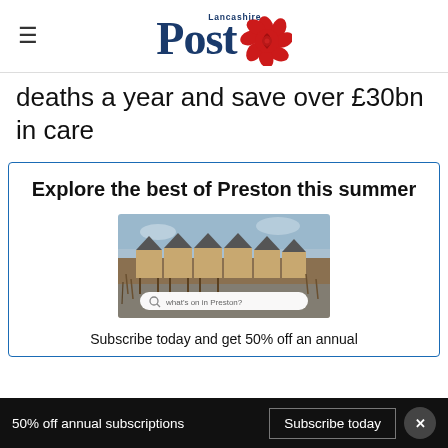Lancashire Post
deaths a year and save over £30bn in care
Explore the best of Preston this summer
[Figure (photo): Waterside huts/boathouses with search bar overlay reading 'what's on in Preston?']
Subscribe today and get 50% off an annual
50% off annual subscriptions  Subscribe today